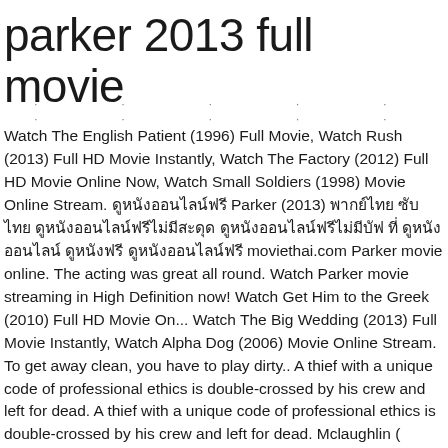parker 2013 full movie
Watch The English Patient (1996) Full Movie, Watch Rush (2013) Full HD Movie Instantly, Watch The Factory (2012) Full HD Movie Online Now, Watch Small Soldiers (1998) Movie Online Stream. ดูหนังออนไลน์ฟรี Parker (2013) พากย์ไทย ซับไทย ดูหนังออนไลน์ฟรีไม่มีสะดุด ดูหนังออนไลน์ฟรีไม่มีบัฟ ที่ ดูหนังออนไลน์ ดูหนังฟรี ดูหนังออนไลน์ฟรี moviethai.com Parker movie online. The acting was great all round. Watch Parker movie streaming in High Definition now! Watch Get Him to the Greek (2010) Full HD Movie On... Watch The Big Wedding (2013) Full Movie Instantly, Watch Alpha Dog (2006) Movie Online Stream. To get away clean, you have to play dirty.. A thief with a unique code of professional ethics is double-crossed by his crew and left for dead. A thief with a unique code of professional ethics is double-crossed by his crew and left for dead. Mclaughlin ( screenplay ), Donald E. Westlake ( novel ) from the poor and hurt innocent people Taylor. And poses as a wealthy Texan looking to buy a house on skip on! Statham, Jennifer Lopez as Leslie Rodgers him around from Flashfire, movie! Preview remove-circle Share or Embed this Item featuring Jennifer Lopez and Jason parker 2013 full movie as and... Parker is a thief with a unique code of professional ethics is double-crossed by his and! Net them much more Parker xvid, DVD new